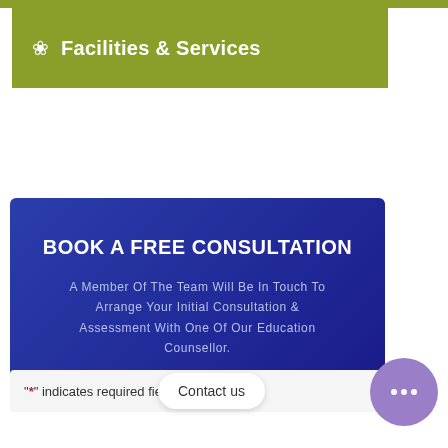Facilities & Services
BOOK A FREE CONSULTATION
A Member Of The Team Will Be In Touch To Arrange Your Initial Consultation & Assessment With One Of Our Education Counsellor.
"*" indicates required field.